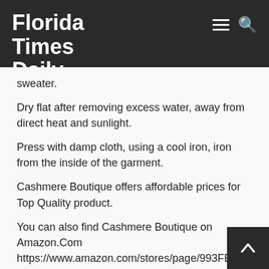Florida Times Daily
sweater.
Dry flat after removing excess water, away from direct heat and sunlight.
Press with damp cloth, using a cool iron, iron from the inside of the garment.
Cashmere Boutique offers affordable prices for Top Quality product.
You can also find Cashmere Boutique on Amazon.Com https://www.amazon.com/stores/page/993FE C5E1-4425-BEA2-057074BDF0F4?